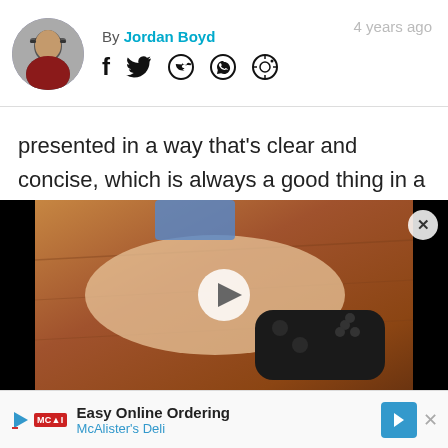By Jordan Boyd — 4 years ago
presented in a way that’s clear and concise, which is always a good thing in a genre that can sometimes polarize more casual players.
[Figure (screenshot): Video player showing a person holding a PS4 controller on a wooden surface. Black bars on left and right sides. White play button in center. Close button top right.]
[Figure (infographic): Advertisement banner: Easy Online Ordering, McAlister's Deli, with logo and blue arrow icon.]